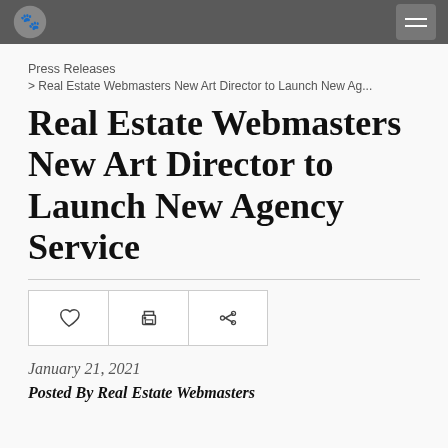Real Estate Webmasters [navigation bar with logo and menu]
Press Releases
> Real Estate Webmasters New Art Director to Launch New Ag...
Real Estate Webmasters New Art Director to Launch New Agency Service
[Figure (other): Three action icon buttons: heart (like), printer (print), and share arrow]
January 21, 2021
Posted By Real Estate Webmasters